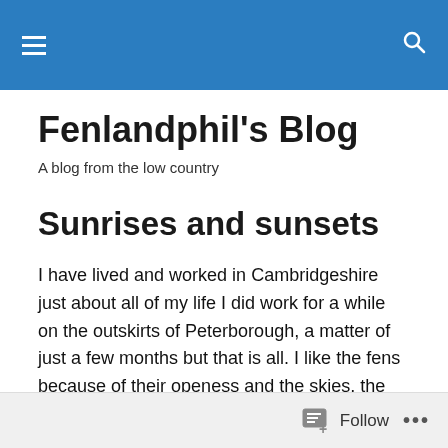[Navigation menu icon] [Search icon]
Fenlandphil's Blog
A blog from the low country
Sunrises and sunsets
I have lived and worked in Cambridgeshire just about all of my life I did work for a while on the outskirts of Peterborough, a matter of just a few months but that is all. I like the fens because of their openess and the skies, the skies are an everchanging picture, each second unique and different unemcumbered by the clutter of buildings
Follow ...